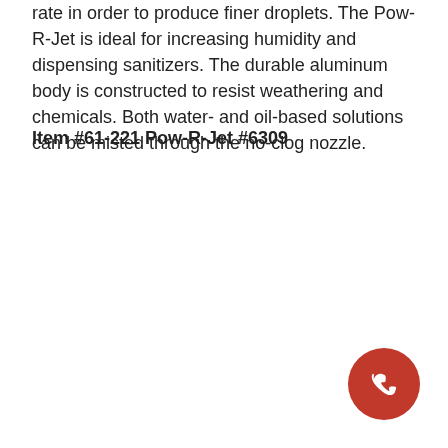rate in order to produce finer droplets. The Pow-R-Jet is ideal for increasing humidity and dispensing sanitizers. The durable aluminum body is constructed to resist weathering and chemicals. Both water- and oil-based solutions can be misted through the no-clog nozzle.
Item #61-221 Pow-R-Jet #6309
[Figure (other): Red circular phone/call button icon in the bottom-right corner]